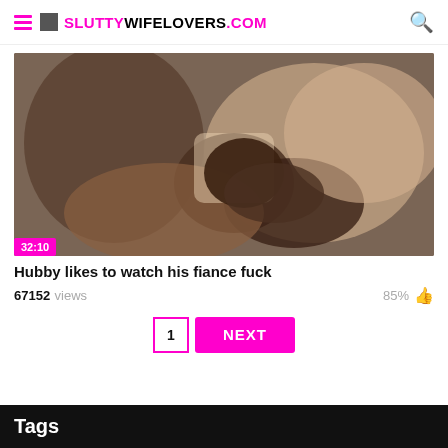SLUTTYWIFELOVERS.COM
[Figure (photo): Video thumbnail showing adult content with duration badge 32:10]
Hubby likes to watch his fiance fuck
67152 views   85%
1  NEXT
Tags